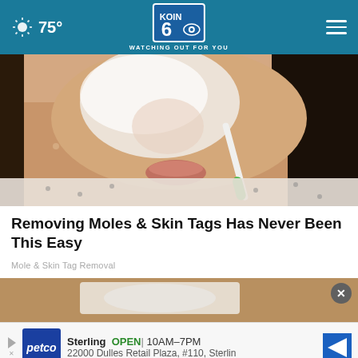KOIN 6 - WATCHING OUT FOR YOU | 75°
[Figure (photo): Woman applying white cream to her face/nose area with a small brush, dark hair, wearing a patterned blouse]
Removing Moles & Skin Tags Has Never Been This Easy
Mole & Skin Tag Removal
[Figure (photo): Partial second image at bottom showing skin care product on wooden surface, overlaid with Petco advertisement banner. Ad reads: Sterling OPEN | 10AM–7PM, 22000 Dulles Retail Plaza, #110, Sterling]